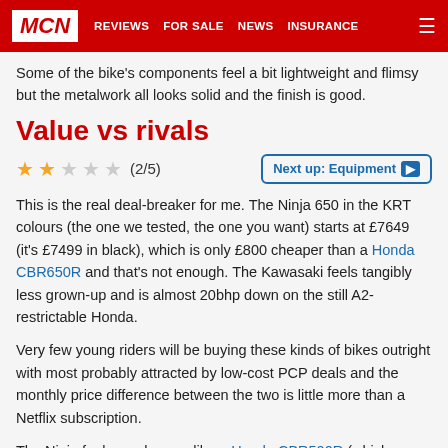MCN | REVIEWS | FOR SALE | NEWS | INSURANCE
Some of the bike's components feel a bit lightweight and flimsy but the metalwork all looks solid and the finish is good.
Value vs rivals
★★☆☆☆ (2/5)
Next up: Equipment ▶
This is the real deal-breaker for me. The Ninja 650 in the KRT colours (the one we tested, the one you want) starts at £7649 (it's £7499 in black), which is only £800 cheaper than a Honda CBR650R and that's not enough. The Kawasaki feels tangibly less grown-up and is almost 20bhp down on the still A2-restrictable Honda.
Very few young riders will be buying these kinds of bikes outright with most probably attracted by low-cost PCP deals and the monthly price difference between the two is little more than a Netflix subscription.
The Ninja feels much more like a Honda CBR500R (which